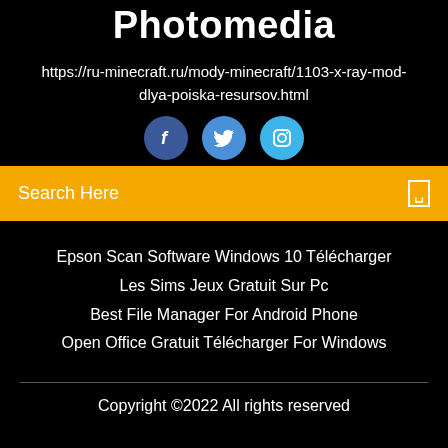Photomedia
https://ru-minecraft.ru/mody-minecraft/1103-x-ray-mod-dlya-poiska-resursov.html
[Figure (illustration): Three social media icons: Facebook (dark blue circle with 'f'), Twitter (medium blue circle with bird), Instagram (light blue circle with camera)]
Search Here
Epson Scan Software Windows 10 Télécharger
Les Sims Jeux Gratuit Sur Pc
Best File Manager For Android Phone
Open Office Gratuit Télécharger For Windows
Copyright ©2022 All rights reserved